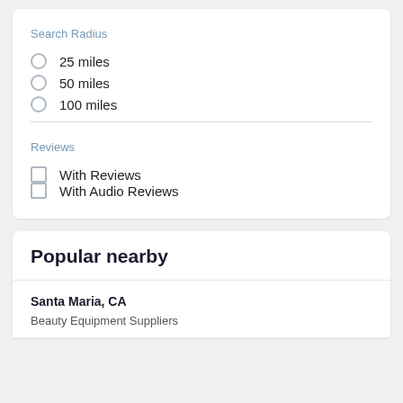Search Radius
25 miles
50 miles
100 miles
Reviews
With Reviews
With Audio Reviews
Popular nearby
Santa Maria, CA
Beauty Equipment Suppliers